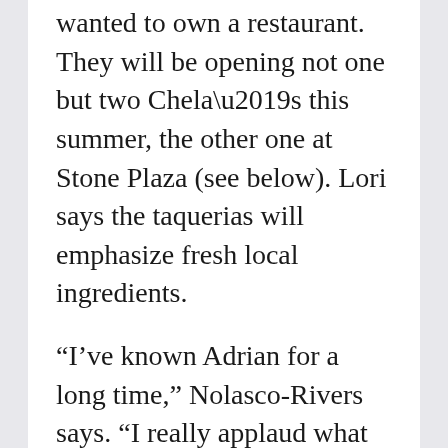wanted to own a restaurant. They will be opening not one but two Chela's this summer, the other one at Stone Plaza (see below). Lori says the taquerias will emphasize fresh local ingredients.
“I’ve known Adrian for a long time,” Nolasco-Rivers says. “I really applaud what he’s doing and welcome him to the neighborhood.” Naghmouchi seems a little less enthusiastic about the coming competition, or perhaps he’s just reliving